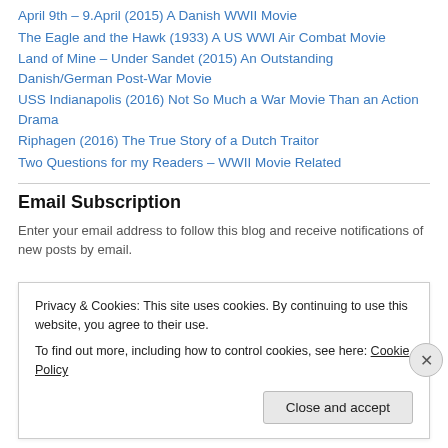April 9th – 9.April (2015) A Danish WWII Movie
The Eagle and the Hawk (1933) A US WWI Air Combat Movie
Land of Mine – Under Sandet (2015) An Outstanding Danish/German Post-War Movie
USS Indianapolis (2016) Not So Much a War Movie Than an Action Drama
Riphagen (2016) The True Story of a Dutch Traitor
Two Questions for my Readers – WWII Movie Related
Email Subscription
Enter your email address to follow this blog and receive notifications of new posts by email.
Privacy & Cookies: This site uses cookies. By continuing to use this website, you agree to their use. To find out more, including how to control cookies, see here: Cookie Policy